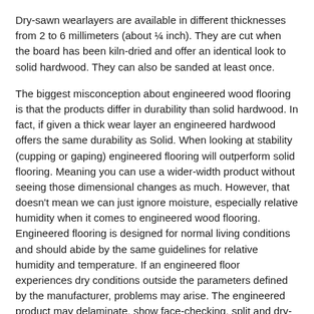Dry-sawn wearlayers are available in different thicknesses from 2 to 6 millimeters (about ¼ inch). They are cut when the board has been kiln-dried and offer an identical look to solid hardwood. They can also be sanded at least once.
The biggest misconception about engineered wood flooring is that the products differ in durability than solid hardwood. In fact, if given a thick wear layer an engineered hardwood offers the same durability as Solid. When looking at stability (cupping or gaping) engineered flooring will outperform solid flooring. Meaning you can use a wider-width product without seeing those dimensional changes as much. However, that doesn't mean we can just ignore moisture, especially relative humidity when it comes to engineered wood flooring. Engineered flooring is designed for normal living conditions and should abide by the same guidelines for relative humidity and temperature. If an engineered floor experiences dry conditions outside the parameters defined by the manufacturer, problems may arise. The engineered product may delaminate, show face-checking, split and dry-cup—all problems that require plank replacement.